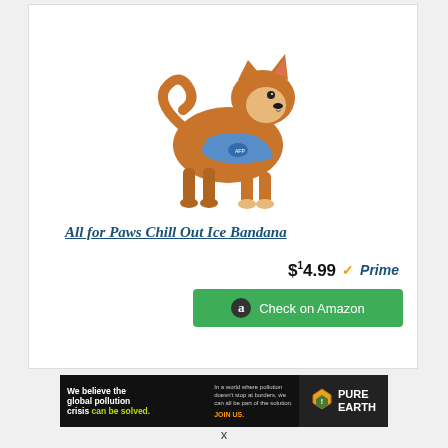[Figure (photo): A Shiba Inu dog standing facing right, wearing a blue cooling bandana/vest product]
All for Paws Chill Out Ice Bandana
$14.99 ✓Prime
Check on Amazon
[Figure (other): Pure Earth advertisement banner: 'We believe the global pollution crisis can be solved. In a world where pollution doesn't stop at borders, we can all be part of the solution. JOIN US.' with Pure Earth logo]
x